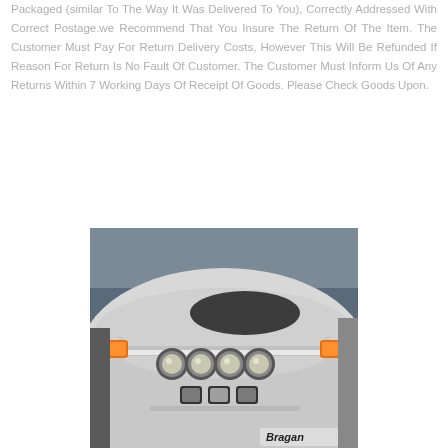Packaged (similar To The Way It Was Delivered To You), Correctly Addressed With Correct Postage.we Recommend That You Insure The Return Of The Item. The Customer Must Pay For Return Delivery Costs, However This Will Be Refunded If Reason For Return Is No Fault Of Customer. The Customer Must Inform Us Of Any Returns Within 7 Working Days Of Receipt Of Goods. Please Check Goods Upon.
[Figure (photo): Photo of a white truck cab roof with a chrome light bar mounted across the front, featuring multiple round headlights in the center and orange marker lights on each side. The Bragan brand logo is visible in the lower right corner. The photo appears to be taken in a garage or workshop setting.]